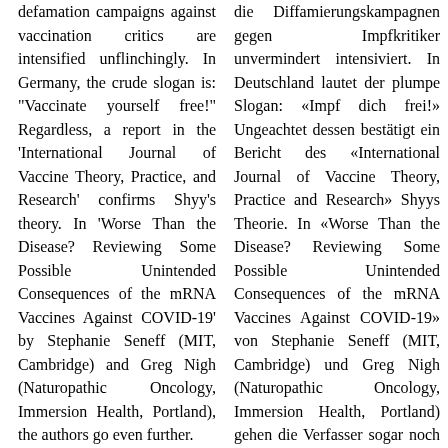defamation campaigns against vaccination critics are intensified unflinchingly. In Germany, the crude slogan is: "Vaccinate yourself free!" Regardless, a report in the 'International Journal of Vaccine Theory, Practice, and Research' confirms Shyy's theory. In 'Worse Than the Disease? Reviewing Some Possible Unintended Consequences of the mRNA Vaccines Against COVID-19' by Stephanie Seneff (MIT, Cambridge) and Greg Nigh (Naturopathic Oncology, Immersion Health, Portland), the authors go even further.
At the beginning, the authors emphasise once again that Corona has broken new and risky ground in vaccine production. I also dedicated a separate chapter in my book 'Vom Verlust der Freiheit' (On the Loss of Freedom) to the glaring difference between
die Diffamierungskampagnen gegen Impfkritiker unvermindert intensiviert. In Deutschland lautet der plumpe Slogan: «Impf dich frei!» Ungeachtet dessen bestätigt ein Bericht des «International Journal of Vaccine Theory, Practice and Research» Shyys Theorie. In «Worse Than the Disease? Reviewing Some Possible Unintended Consequences of the mRNA Vaccines Against COVID-19» von Stephanie Seneff (MIT, Cambridge) und Greg Nigh (Naturopathic Oncology, Immersion Health, Portland) gehen die Verfasser sogar noch weiter.
Am Anfang heben die Autoren noch einmal hervor, dass Corona bei der Impfstoffherstellung riskante Wege beschritten hat, die bislang nicht herkömmlich beschritten wurden. Auch ich habe in meinem